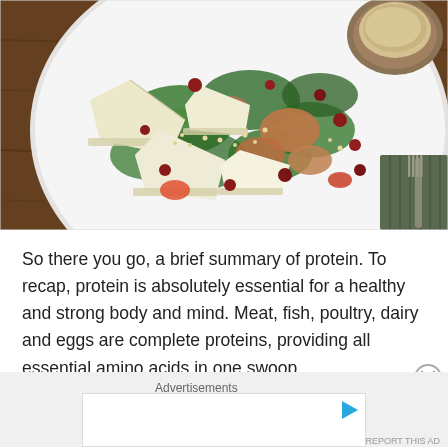[Figure (photo): Overhead photo of a salad on a white plate with brie cheese slices, salmon, cranberries, spinach leaves, and quinoa on a wooden table. A small bowl of dressing is visible in the upper right corner.]
So there you go, a brief summary of protein. To recap, protein is absolutely essential for a healthy and strong body and mind. Meat, fish, poultry, dairy and eggs are complete proteins, providing all essential amino acids in one swoop.
Advertisements